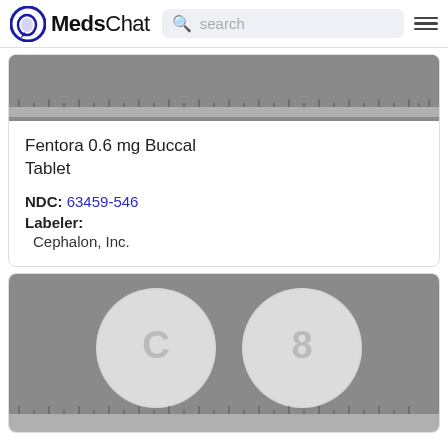MedsChat — search bar — menu
[Figure (photo): Gray ruler/scale bar image at the top of the first card]
Fentora 0.6 mg Buccal Tablet
NDC: 63459-546
Labeler:
  Cephalon, Inc.
[Figure (photo): Photograph of two round white buccal tablets against a gray background with a ruler below. Left tablet shows 'C' imprint, right tablet shows '8' imprint.]